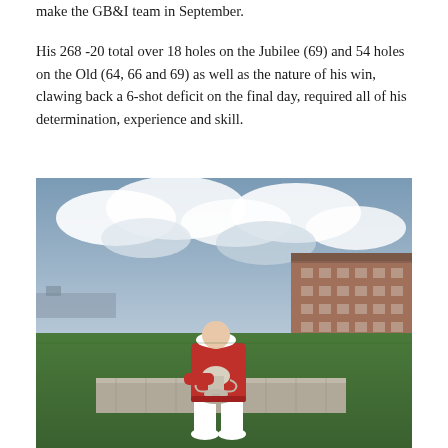make the GB&I team in September.
His 268 -20 total over 18 holes on the Jubilee (69) and 54 holes on the Old (64, 66 and 69) as well as the nature of his win, clawing back a 6-shot deficit on the final day, required all of his determination, experience and skill.
[Figure (photo): A golfer in a red jacket and white cap sits on a stone wall on a golf course (St Andrews), holding a silver trophy. A large brick building is visible in the background under a dramatic cloudy sky.]